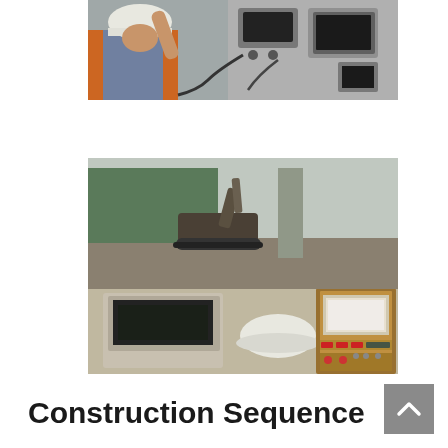[Figure (photo): Construction worker wearing a white hard hat and orange safety vest, operating control panel equipment. Electronic devices and cables visible in background.]
[Figure (photo): View from inside a control room or cab looking out at a construction site. A tracked excavator is visible through the window. In the foreground: a monitor/computer terminal on the left, a white hard hat, and a large control/monitoring equipment panel with buttons and displays on the right.]
Construction Sequence